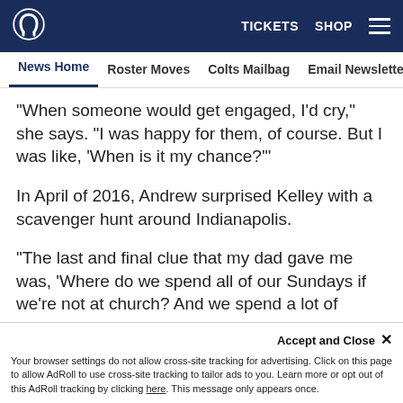Indianapolis Colts — TICKETS  SHOP  [menu]
News Home  Roster Moves  Colts Mailbag  Email Newsletter  U...
"When someone would get engaged, I'd cry," she says. "I was happy for them, of course. But I was like, 'When is it my chance?'"
In April of 2016, Andrew surprised Kelley with a scavenger hunt around Indianapolis.
"The last and final clue that my dad gave me was, 'Where do we spend all of our Sundays if we're not at church? And we spend a lot of money on nachos.' And I was like, 'Lucas Oil.' I drove to Lucas Oil Stadium and our whole family was there."
Accept and Close ×
Your browser settings do not allow cross-site tracking for advertising. Click on this page to allow AdRoll to use cross-site tracking to tailor ads to you. Learn more or opt out of this AdRoll tracking by clicking here. This message only appears once.